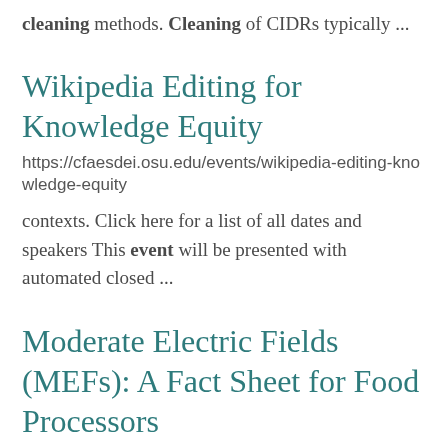cleaning methods. Cleaning of CIDRs typically ...
Wikipedia Editing for Knowledge Equity
https://cfaesdei.osu.edu/events/wikipedia-editing-knowledge-equity
contexts. Click here for a list of all dates and speakers This event will be presented with automated closed ...
Moderate Electric Fields (MEFs): A Fact Sheet for Food Processors
https://ohioline.osu.edu/factsheet/aex-270